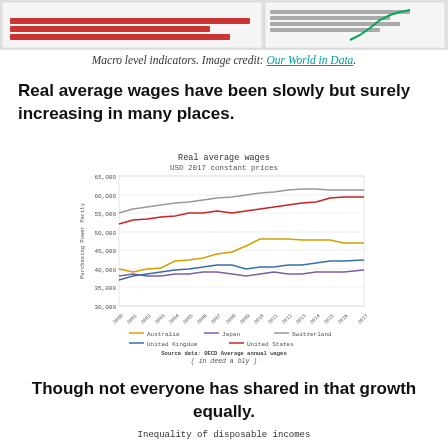[Figure (screenshot): Top strip showing macro level indicator charts from Our World in Data]
Macro level indicators. Image credit: Our World in Data.
Real average wages have been slowly but surely increasing in many places.
[Figure (line-chart): Real average wages USD 2017 constant prices]
Though not everyone has shared in that growth equally.
Inequality of disposable incomes